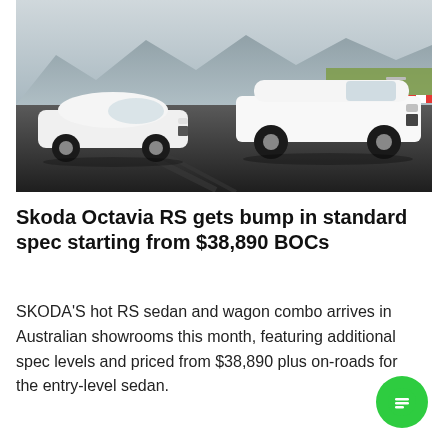[Figure (photo): Two white Skoda Octavia RS cars (sedan and wagon) parked on a racing circuit track, with mountains and grass visible in the background.]
Skoda Octavia RS gets bump in standard spec starting from $38,890 BOCs
SKODA'S hot RS sedan and wagon combo arrives in Australian showrooms this month, featuring additional spec levels and priced from $38,890 plus on-roads for the entry-level sedan.